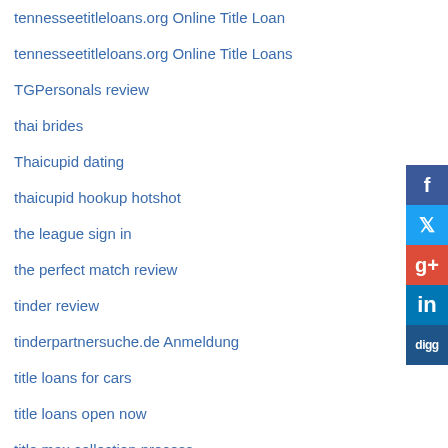tennesseetitleloans.org Online Title Loan
tennesseetitleloans.org Online Title Loans
TGPersonals review
thai brides
Thaicupid dating
thaicupid hookup hotshot
the league sign in
the perfect match review
tinder review
tinderpartnersuche.de Anmeldung
title loans for cars
title loans open now
title max collection process
titleloansvirginia.org Online Title Loans